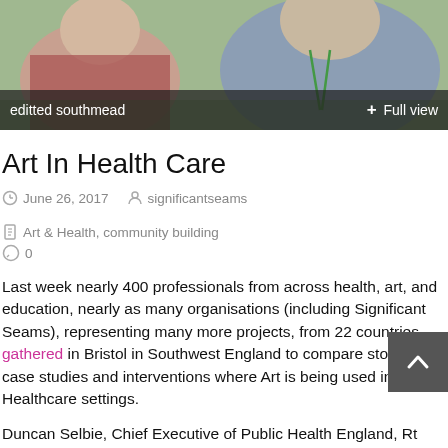[Figure (photo): A photo banner showing people outdoors, with a dark overlay bar at the bottom containing the text 'editted southmead' on the left and '+ Full view' on the right.]
Art In Health Care
June 26, 2017   significantseams   Art & Health, community building
0
Last week nearly 400 professionals from across health, art, and education, nearly as many organisations (including Significant Seams), representing many more projects, from 22 countries gathered in Bristol in Southwest England to compare stories, case studies and interventions where Art is being used in Healthcare settings.
Duncan Selbie, Chief Executive of Public Health England, Rt Hon Lord Howarth of Newport CBE, Co-Chair of the All-Parliamentary Group on Arts, Health, and Well-Being and internationally